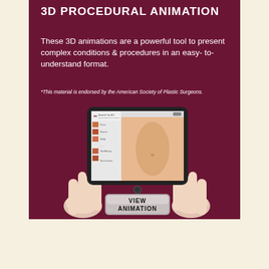3D PROCEDURAL ANIMATION
These 3D animations are a powerful tool to present complex conditions & procedures in an easy- to-understand format.
*This material is endorsed by the American Society of Plastic Surgeons.
[Figure (screenshot): Hands holding a tablet device displaying a medical/plastic surgery website (Michael K. Kim M.D.) showing procedure images and a torso photo on screen]
VIEW ANIMATION